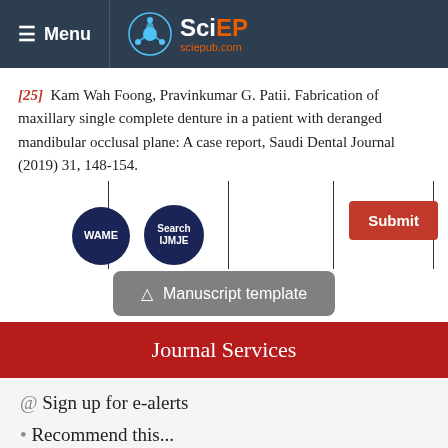Menu | SciEP sciepub.com
[25] Kam Wah Foong, Pravinkumar G. Patii. Fabrication of maxillary single complete denture in a patient with deranged mandibular occlusal plane: A case report, Saudi Dental Journal (2019) 31, 148-154.
[Figure (logo): WAME badge circle and Search IJMJE badge circle with vertical divider lines and Submit button]
[Figure (other): Manuscript template download button]
Journal Services
@ Sign up for e-alerts